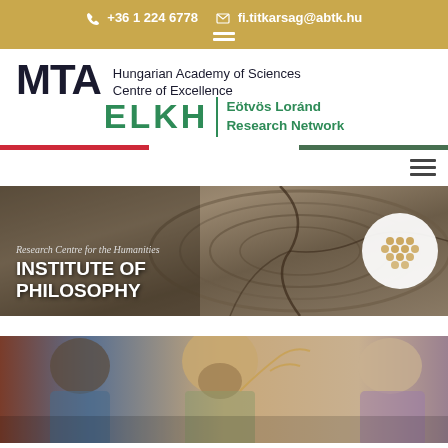+36 1 224 6778   fi.titkarsag@abtk.hu
[Figure (logo): MTA Hungarian Academy of Sciences Centre of Excellence / ELKH Eötvös Loránd Research Network logo]
[Figure (illustration): Banner image: Research Centre for the Humanities - Institute of Philosophy, showing cracked wood texture background with circle logo]
[Figure (photo): Bottom section showing a classical painting with bearded figures, appears to be a Renaissance-era painting]